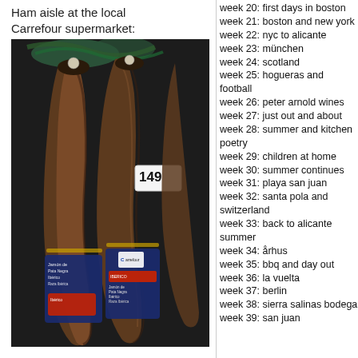Ham aisle at the local
Carrefour supermarket:
[Figure (photo): Photo of cured Iberian ham legs (jamón ibérico) hanging or displayed in a supermarket ham aisle, with Carrefour-branded price tag showing 149, and labels reading 'Jamón de Pata Negra Ibérico Raza Ibérica'.]
week 20: first days in boston
week 21: boston and new york
week 22: nyc to alicante
week 23: münchen
week 24: scotland
week 25: hogueras and football
week 26: peter arnold wines
week 27: just out and about
week 28: summer and kitchen poetry
week 29: children at home
week 30: summer continues
week 31: playa san juan
week 32: santa pola and switzerland
week 33: back to alicante summer
week 34: århus
week 35: bbq and day out
week 36: la vuelta
week 37: berlin
week 38: sierra salinas bodega
week 39: san juan